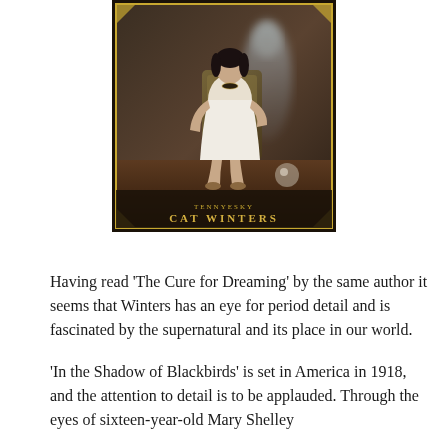[Figure (illustration): Book cover art showing a young woman in a white dress seated in a chair, with a ghostly figure behind her. Text at the bottom reads 'TENNYESKY CAT WINTERS' in decorative lettering. The cover has a dark, atmospheric, vintage aesthetic.]
Having read 'The Cure for Dreaming' by the same author it seems that Winters has an eye for period detail and is fascinated by the supernatural and its place in our world.
'In the Shadow of Blackbirds' is set in America in 1918, and the attention to detail is to be applauded. Through the eyes of sixteen-year-old Mary Shelley